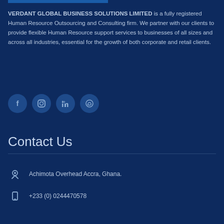VERDANT GLOBAL BUSINESS SOLUTIONS LIMITED is a fully registered Human Resource Outsourcing and Consulting firm. We partner with our clients to provide flexible Human Resource support services to businesses of all sizes and across all industries, essential for the growth of both corporate and retail clients.
[Figure (illustration): Four social media icon circles: Facebook, Instagram, LinkedIn, WhatsApp]
Contact Us
Achimota Overhead Accra, Ghana.
+233 (0) 0244470578